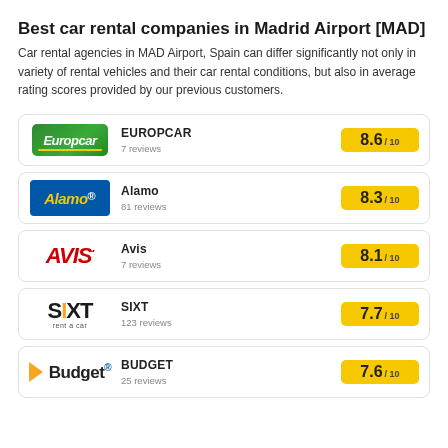Best car rental companies in Madrid Airport [MAD]
Car rental agencies in MAD Airport, Spain can differ significantly not only in variety of rental vehicles and their car rental conditions, but also in average rating scores provided by our previous customers.
EUROPCAR — 8.6 / 10 — 7 reviews
Alamo — 8.3 / 10 — 81 reviews
Avis — 8.1 / 10 — 7 reviews
SIXT — 7.7 / 10 — 123 reviews
BUDGET — 7.6 / 10 — 25 reviews